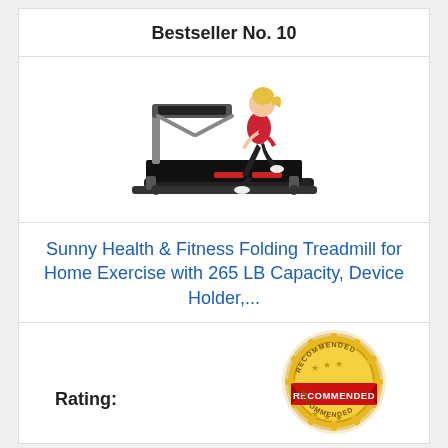Bestseller No. 10
[Figure (photo): Woman in red top and black pants running on a Sunny Health & Fitness folding treadmill with silver and black frame]
Sunny Health & Fitness Folding Treadmill for Home Exercise with 265 LB Capacity, Device Holder,...
[Figure (illustration): Gold and red 'RECOMMENDED' badge/seal with stars]
Rating: